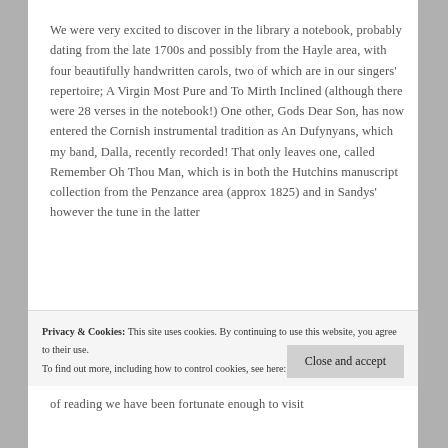We were very excited to discover in the library a notebook, probably dating from the late 1700s and possibly from the Hayle area, with four beautifully handwritten carols, two of which are in our singers' repertoire; A Virgin Most Pure and To Mirth Inclined (although there were 28 verses in the notebook!) One other, Gods Dear Son, has now entered the Cornish instrumental tradition as An Dufynyans, which my band, Dalla, recently recorded! That only leaves one, called Remember Oh Thou Man, which is in both the Hutchins manuscript collection from the Penzance area (approx 1825) and in Sandys' however the tune in the latter
Privacy & Cookies: This site uses cookies. By continuing to use this website, you agree to their use.
To find out more, including how to control cookies, see here: Cookie Policy
Close and accept
of reading we have been fortunate enough to visit